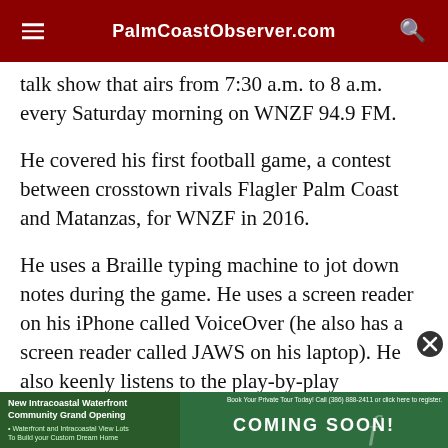PalmCoastObserver.com
talk show that airs from 7:30 a.m. to 8 a.m. every Saturday morning on WNZF 94.9 FM.
He covered his first football game, a contest between crosstown rivals Flagler Palm Coast and Matanzas, for WNZF in 2016.
He uses a Braille typing machine to jot down notes during the game. He uses a screen reader on his iPhone called VoiceOver (he also has a screen reader called JAWS on his laptop). He also keenly listens to the play-by-play announcer and the
[Figure (other): Advertisement banner at bottom: New Intracoastal Waterfront Community Grand Opening - COMING SOON! with green background and landscape imagery]